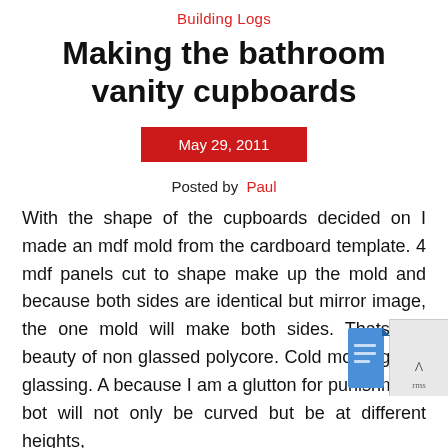Building Logs
Making the bathroom vanity cupboards
May 29, 2011
Posted by Paul
With the shape of the cupboards decided on I made an mdf mold from the cardboard template. 4 mdf panels cut to shape make up the mold and because both sides are identical but mirror image, the one mold will make both sides. Thats the beauty of non glassed polycore. Cold molding and glassing. A because I am a glutton for punishment, bot will not only be curved but be at different heights,